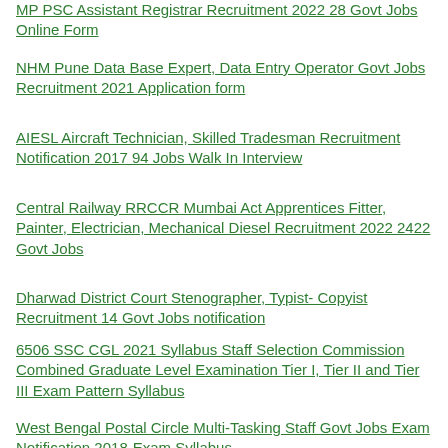MP PSC Assistant Registrar Recruitment 2022 28 Govt Jobs Online Form
NHM Pune Data Base Expert, Data Entry Operator Govt Jobs Recruitment 2021 Application form
AIESL Aircraft Technician, Skilled Tradesman Recruitment Notification 2017 94 Jobs Walk In Interview
Central Railway RRCCR Mumbai Act Apprentices Fitter, Painter, Electrician, Mechanical Diesel Recruitment 2022 2422 Govt Jobs
Dharwad District Court Stenographer, Typist- Copyist Recruitment 14 Govt Jobs notification
6506 SSC CGL 2021 Syllabus Staff Selection Commission Combined Graduate Level Examination Tier I, Tier II and Tier III Exam Pattern Syllabus
West Bengal Postal Circle Multi-Tasking Staff Govt Jobs Exam Notification 2018-Exam Syllabus